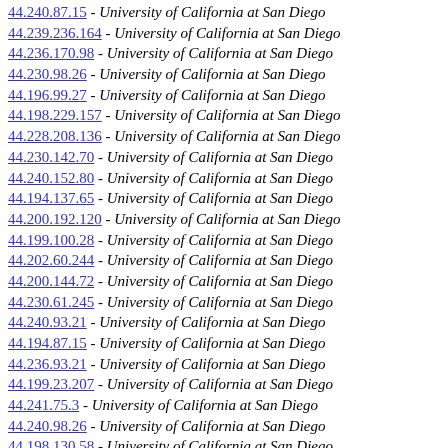44.240.87.15 - University of California at San Diego
44.239.236.164 - University of California at San Diego
44.236.170.98 - University of California at San Diego
44.230.98.26 - University of California at San Diego
44.196.99.27 - University of California at San Diego
44.198.229.157 - University of California at San Diego
44.228.208.136 - University of California at San Diego
44.230.142.70 - University of California at San Diego
44.240.152.80 - University of California at San Diego
44.194.137.65 - University of California at San Diego
44.200.192.120 - University of California at San Diego
44.199.100.28 - University of California at San Diego
44.202.60.244 - University of California at San Diego
44.200.144.72 - University of California at San Diego
44.230.61.245 - University of California at San Diego
44.240.93.21 - University of California at San Diego
44.194.87.15 - University of California at San Diego
44.236.93.21 - University of California at San Diego
44.199.23.207 - University of California at San Diego
44.241.75.3 - University of California at San Diego
44.240.98.26 - University of California at San Diego
44.198.130.58 - University of California at San Diego
44.197.181.109 - University of California at San Diego
44.242.10.194 - University of California at San Diego
44.237.8.192 - University of California at San Diego
44.196.47.231 - University of California at San Diego
44.198.20.204 - University of California at San Diego
44.193.29.213 - University of California at San Diego
44.197.190.118 - University of California at San Diego
44.198.61.245 - University of California at San Diego